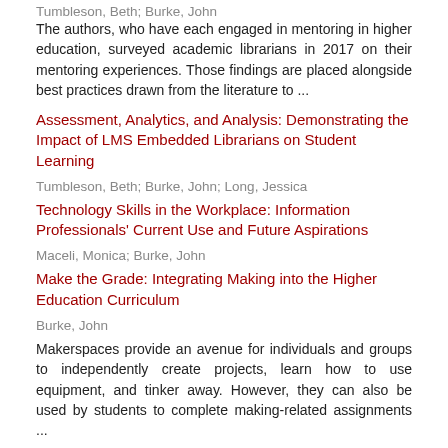Tumbleson, Beth; Burke, John
The authors, who have each engaged in mentoring in higher education, surveyed academic librarians in 2017 on their mentoring experiences. Those findings are placed alongside best practices drawn from the literature to ...
Assessment, Analytics, and Analysis: Demonstrating the Impact of LMS Embedded Librarians on Student Learning
Tumbleson, Beth; Burke, John; Long, Jessica
Technology Skills in the Workplace: Information Professionals' Current Use and Future Aspirations
Maceli, Monica; Burke, John
Make the Grade: Integrating Making into the Higher Education Curriculum
Burke, John
Makerspaces provide an avenue for individuals and groups to independently create projects, learn how to use equipment, and tinker away. However, they can also be used by students to complete making-related assignments ...
Assessment, Analytics, and Analysis: Demonstrating the Impact of LMS Embedded Librarians on Student